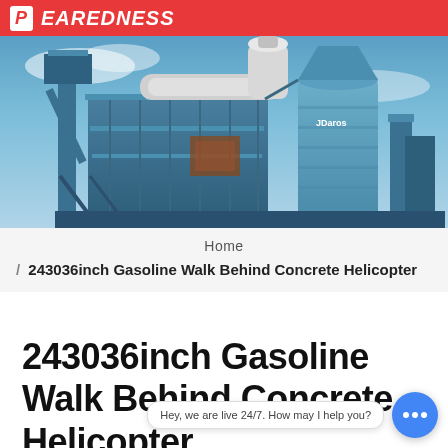PEAREDNESS
[Figure (photo): Industrial blue asphalt mixing plant/concrete equipment against blue sky. Large blue metal structure with silos, conveyor systems, dust collectors, and tall chimney stacks. Label 'JDaros' visible on one silo.]
Home
/ 243036inch Gasoline Walk Behind Concrete Helicopter
243036inch Gasoline Walk Behind Concrete Helicopter